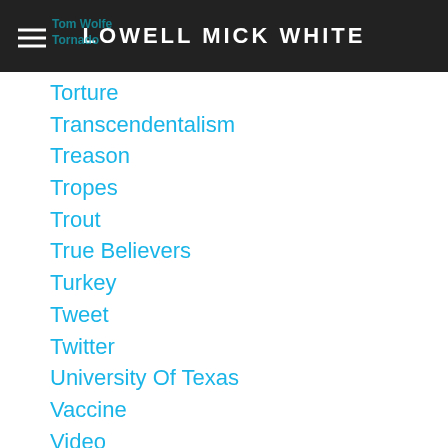LOWELL MICK WHITE
Torture
Transcendentalism
Treason
Tropes
Trout
True Believers
Turkey
Tweet
Twitter
University Of Texas
Vaccine
Video
Violence
Virus
Vision
Vote
Vultures